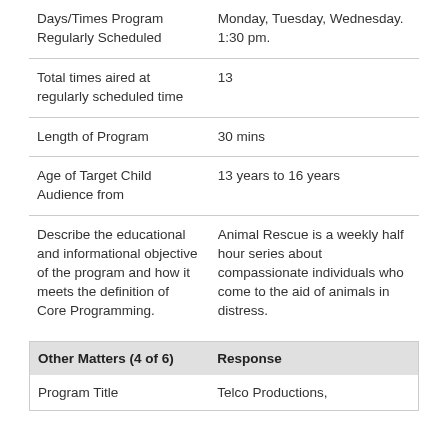| Days/Times Program Regularly Scheduled | Monday, Tuesday, Wednesday. 1:30 pm. |
| Total times aired at regularly scheduled time | 13 |
| Length of Program | 30 mins |
| Age of Target Child Audience from | 13 years to 16 years |
| Describe the educational and informational objective of the program and how it meets the definition of Core Programming. | Animal Rescue is a weekly half hour series about compassionate individuals who come to the aid of animals in distress. |
| Other Matters (4 of 6) | Response |
| --- | --- |
| Program Title | Telco Productions, |